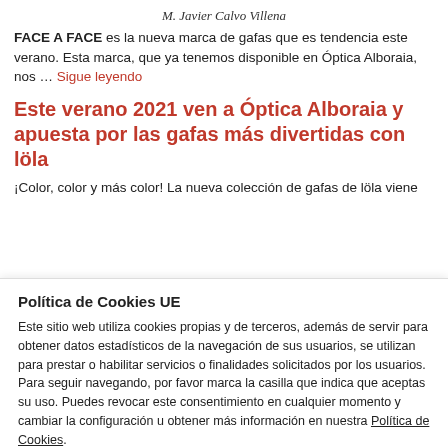M. Javier Calvo Villena
FACE A FACE es la nueva marca de gafas que es tendencia este verano. Esta marca, que ya tenemos disponible en Óptica Alboraia, nos … Sigue leyendo
Este verano 2021 ven a Óptica Alboraia y apuesta por las gafas más divertidas con löla
¡Color, color y más color! La nueva colección de gafas de löla viene
Política de Cookies UE
Este sitio web utiliza cookies propias y de terceros, además de servir para obtener datos estadísticos de la navegación de sus usuarios, se utilizan para prestar o habilitar servicios o finalidades solicitados por los usuarios. Para seguir navegando, por favor marca la casilla que indica que aceptas su uso. Puedes revocar este consentimiento en cualquier momento y cambiar la configuración u obtener más información en nuestra Política de Cookies.
Ajustes de Cookies | ACEPTO